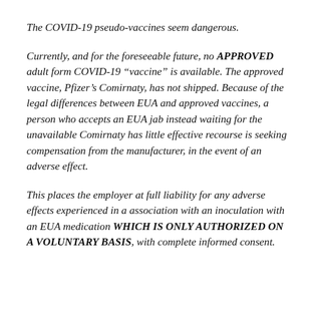The COVID-19 pseudo-vaccines seem dangerous.
Currently, and for the foreseeable future, no APPROVED adult form COVID-19 “vaccine” is available. The approved vaccine, Pfizer’s Comirnaty, has not shipped. Because of the legal differences between EUA and approved vaccines, a person who accepts an EUA jab instead waiting for the unavailable Comirnaty has little effective recourse is seeking compensation from the manufacturer, in the event of an adverse effect.
This places the employer at full liability for any adverse effects experienced in a association with an inoculation with an EUA medication WHICH IS ONLY AUTHORIZED ON A VOLUNTARY BASIS, with complete informed consent.